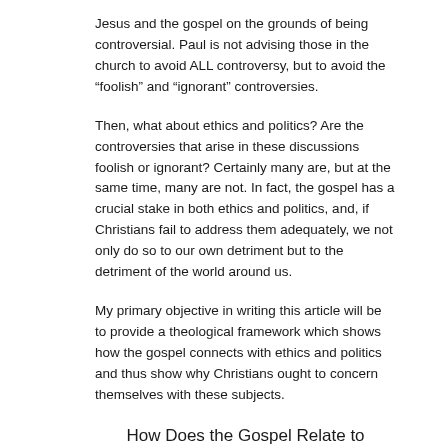Jesus and the gospel on the grounds of being controversial. Paul is not advising those in the church to avoid ALL controversy, but to avoid the “foolish” and “ignorant” controversies.
Then, what about ethics and politics? Are the controversies that arise in these discussions foolish or ignorant? Certainly many are, but at the same time, many are not. In fact, the gospel has a crucial stake in both ethics and politics, and, if Christians fail to address them adequately, we not only do so to our own detriment but to the detriment of the world around us.
My primary objective in writing this article will be to provide a theological framework which shows how the gospel connects with ethics and politics and thus show why Christians ought to concern themselves with these subjects.
How Does the Gospel Relate to